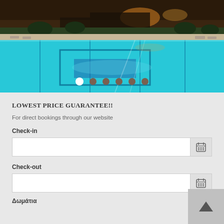[Figure (photo): Hotel swimming pool at dusk with lounge chairs, glowing lights in background, viewed from poolside. Vivid turquoise water with lane markers.]
LOWEST PRICE GUARANTEE!!
For direct bookings through our website
Check-in
Check-out
Δωμάτια